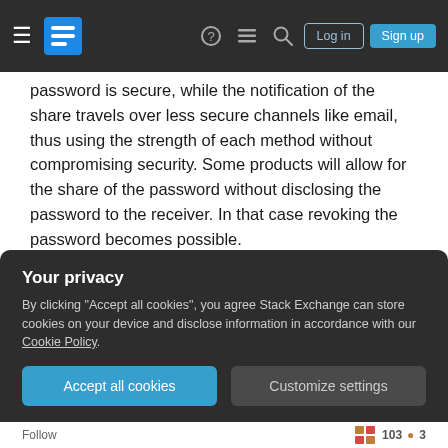Stack Exchange navigation bar with hamburger menu, logo, help, chat, search, Log in, Sign up
password is secure, while the notification of the share travels over less secure channels like email, thus using the strength of each method without compromising security. Some products will allow for the share of the password without disclosing the password to the receiver. In that case revoking the password becomes possible.
I highly recommend using a password manager for all of your passwords. Some commercial ones are LastPass, 1Password or Dashlane but there is also
Your privacy
By clicking "Accept all cookies", you agree Stack Exchange can store cookies on your device and disclose information in accordance with our Cookie Policy.
Accept all cookies
Customize settings
Follow  103  3